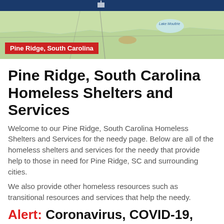[Figure (map): Map of Pine Ridge, South Carolina region showing geographic features and surrounding area with a red label overlay reading 'Pine Ridge, South Carolina']
Pine Ridge, South Carolina Homeless Shelters and Services
Welcome to our Pine Ridge, South Carolina Homeless Shelters and Services for the needy page. Below are all of the homeless shelters and services for the needy that provide help to those in need for Pine Ridge, SC and surrounding cities.
We also provide other homeless resources such as transitional resources and services that help the needy.
Alert: Coronavirus, COVID-19, Rental Assistance Programs
Looking for government and non-profit programs to